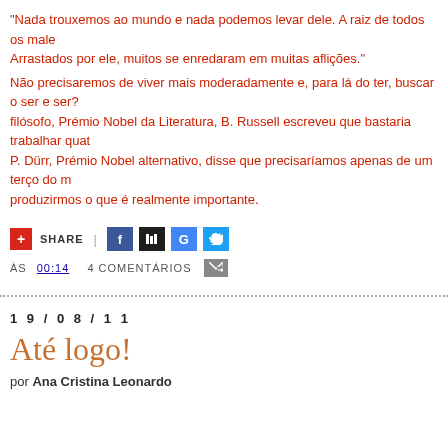"Nada trouxemos ao mundo e nada podemos levar dele. A raiz de todos os male... Arrastados por ele, muitos se enredaram em muitas aflições."
Não precisaremos de viver mais moderadamente e, para lá do ter, buscar o ser e ser?... filósofo, Prémio Nobel da Literatura, B. Russell escreveu que bastaria trabalhar quatro... P. Dürr, Prémio Nobel alternativo, disse que precisaríamos apenas de um terço do m... produzirmos o que é realmente importante.
[Figure (infographic): Share bar with plus icon, SHARE text, vertical separator, Facebook, Digg, Google, and Twitter social share icons]
ÀS 00:14   4 COMENTÁRIOS
19/08/11
Até logo!
por Ana Cristina Leonardo